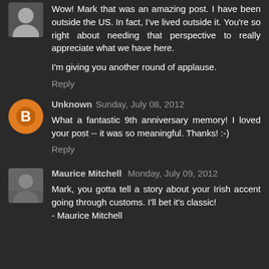Wow! Mark that was an amazing post. I have been outside the US. In fact, I've lived outside it. You're so right about needing that perspective to really appreciate what we have here.

I'm giving you another round of applause.
Reply
Unknown Sunday, July 08, 2012
What a fantastic 9th anniversary memory! I loved your post -- it was so meaningful. Thanks! :-)
Reply
Maurice Mitchell Monday, July 09, 2012
Mark, you gotta tell a story about your Irish accent going through customs. I'll bet it's classic!
- Maurice Mitchell